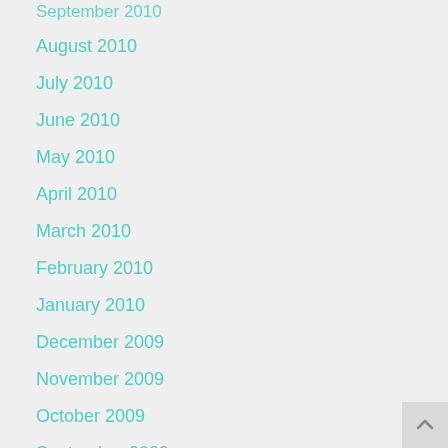September 2010
August 2010
July 2010
June 2010
May 2010
April 2010
March 2010
February 2010
January 2010
December 2009
November 2009
October 2009
September 2009
August 2009
July 2009